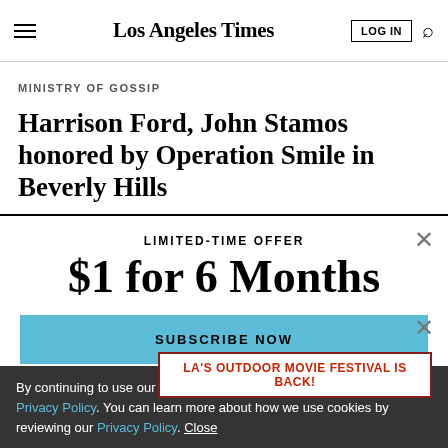Los Angeles Times
MINISTRY OF GOSSIP
Harrison Ford, John Stamos honored by Operation Smile in Beverly Hills
LIMITED-TIME OFFER
$1 for 6 Months
SUBSCRIBE NOW
By continuing to use our site, you agree to our Terms of Service and Privacy Policy. You can learn more about how we use cookies by reviewing our Privacy Policy. Close
LA'S OUTDOOR MOVIE FESTIVAL IS BACK!